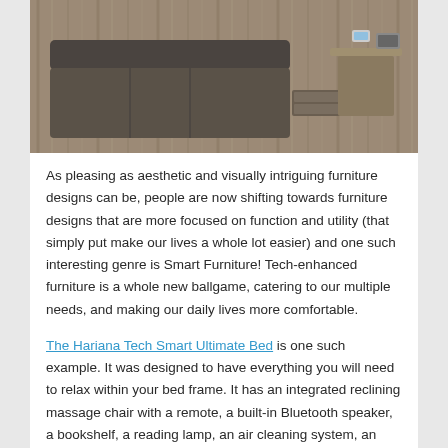[Figure (photo): Overhead/angled view of a modern grey sofa/bed with storage drawers and a side table on a wood-grain floor]
As pleasing as aesthetic and visually intriguing furniture designs can be, people are now shifting towards furniture designs that are more focused on function and utility (that simply put make our lives a whole lot easier) and one such interesting genre is Smart Furniture! Tech-enhanced furniture is a whole new ballgame, catering to our multiple needs, and making our daily lives more comfortable.
The Hariana Tech Smart Ultimate Bed is one such example. It was designed to have everything you will need to relax within your bed frame. It has an integrated reclining massage chair with a remote, a built-in Bluetooth speaker, a bookshelf, a reading lamp, an air cleaning system, an area to plug in and charges your devices, a foot-stool that opens up for extra storage, and a pop-up